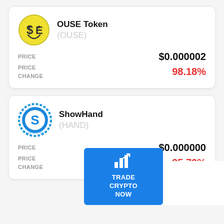[Figure (logo): OUSE Token smiley face logo with dollar sign]
OUSE Token
(OUSE)
| PRICE | $0.000002 |
| PRICE CHANGE | 98.18% |
[Figure (logo): ShowHand poker chip logo with S letter]
ShowHand
(HAND)
| PRICE | $0.000000 |
| PRICE CHANGE | 95.70% |
TRADE CRYPTO NOW